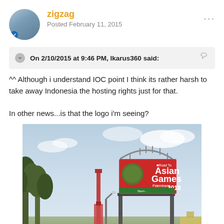zigzag
Posted February 11, 2015
On 2/10/2015 at 9:46 PM, Ikarus360 said:
^^ Although i understand IOC point I think its rather harsh to take away Indonesia the hosting rights just for that.

In other news...is that the logo i'm seeing?
[Figure (photo): Outdoor billboard in Palembang, Indonesia showing a red 'Road To Asian Games 2018 Palembang Indonesia' advertisement with the Asian Games logo, mounted on a large structure above a road with trees and a tower visible in the background.]